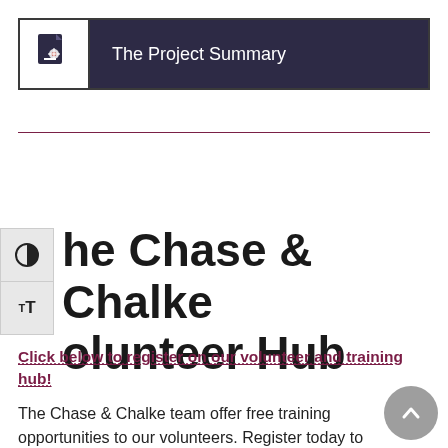The Project Summary
The Chase & Chalke Volunteer Hub
Click below to register on our volunteer and training hub!
The Chase & Chalke team offer free training opportunities to our volunteers. Register today to view